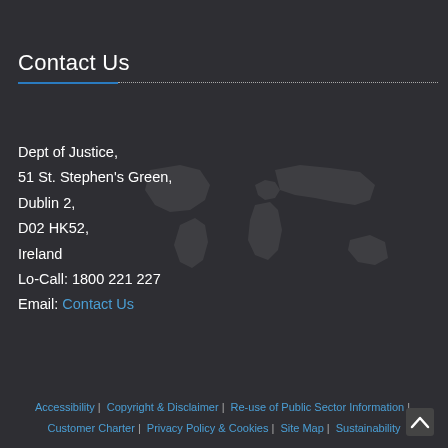Contact Us
[Figure (illustration): Faint world map silhouette in background]
Dept of Justice,
51 St. Stephen's Green,
Dublin 2,
D02 HK52,
Ireland
Lo-Call: 1800 221 227
Email: Contact Us
Accessibility | Copyright & Disclaimer | Re-use of Public Sector Information | Customer Charter | Privacy Policy & Cookies | Site Map | Sustainability